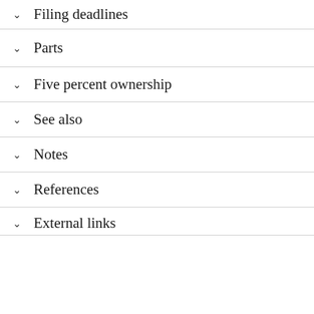Filing deadlines
Parts
Five percent ownership
See also
Notes
References
External links